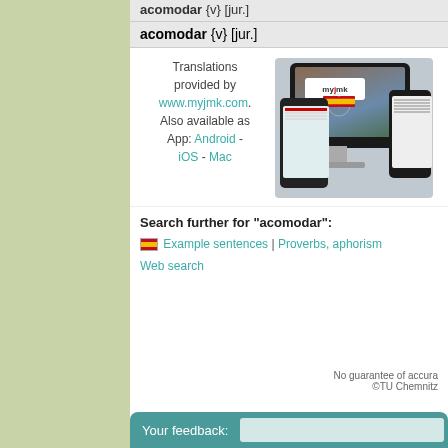acomodar {v} [jur.]
acomodar {v} [jur.]
Translations provided by www.myjmk.com. Also available as App: Android - iOS - Mac
[Figure (screenshot): App screenshot showing myjmk dictionary app on desktop, phone and tablet devices with Spanish flag]
Search further for "acomodar":
🇪🇸 Example sentences | Proverbs, aphorisms | Web search
No guarantee of accuracy. ©TU Chemnitz
Your feedback: